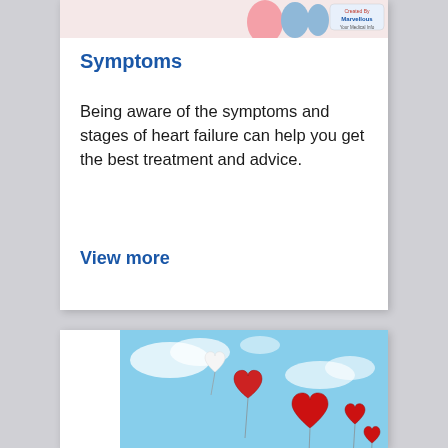[Figure (illustration): Partial view of a medical/heart failure illustration with figures and a logo reading 'Created By Marvellous']
Symptoms
Being aware of the symptoms and stages of heart failure can help you get the best treatment and advice.
View more
[Figure (photo): A photo of red and white heart-shaped balloons floating in a blue sky with clouds]